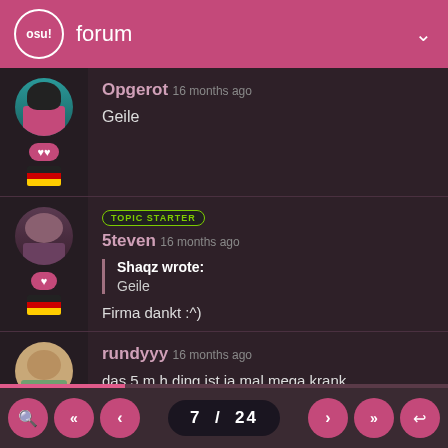osu! forum
Opgerot 16 months ago
Geile
TOPIC STARTER
5teven 16 months ago
Shaqz wrote:
Geile
Firma dankt :^)
rundyyy 16 months ago
das 5.m.h ding ist ja mal mega krank
7 / 24